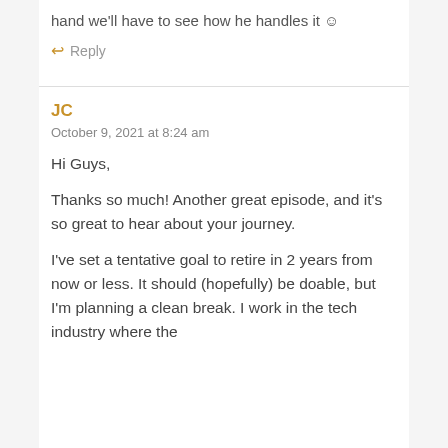hand we'll have to see how he handles it ☺
↩ Reply
JC
October 9, 2021 at 8:24 am
Hi Guys,
Thanks so much! Another great episode, and it's so great to hear about your journey.
I've set a tentative goal to retire in 2 years from now or less. It should (hopefully) be doable, but I'm planning a clean break. I work in the tech industry where the